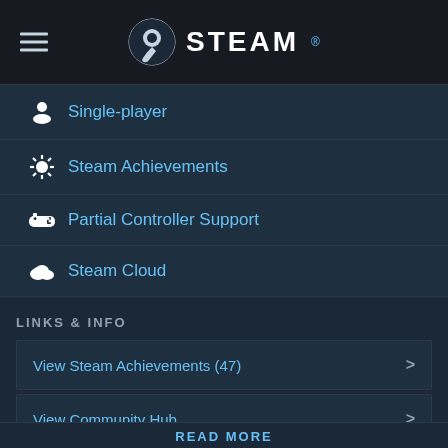STEAM
Single-player
Steam Achievements
Partial Controller Support
Steam Cloud
LINKS & INFO
View Steam Achievements (47)
View Community Hub
Visit the website
Official Discord server
READ MORE